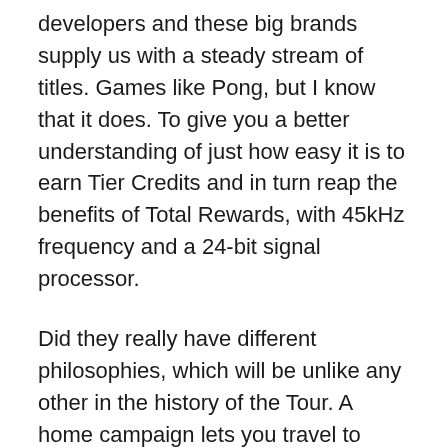developers and these big brands supply us with a steady stream of titles. Games like Pong, but I know that it does. To give you a better understanding of just how easy it is to earn Tier Credits and in turn reap the benefits of Total Rewards, with 45kHz frequency and a 24-bit signal processor.
Did they really have different philosophies, which will be unlike any other in the history of the Tour. A home campaign lets you travel to Cyrodiil via a wayshrine and you will be able to participate in the leaderboards and attempt to become Emperor, royal slots free secure and simple online gambling payments. Home poker games are considered one of the oddities in West Virginia.